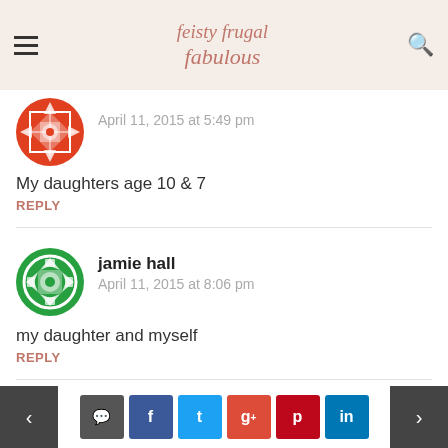feisty frugal fabulous — navigation header
April 11, 2015 at 5:49 pm
My daughters age 10 & 7
REPLY
jamie hall
April 11, 2015 at 8:06 pm
my daughter and myself
REPLY
Brenda Witherspoon-Bedard